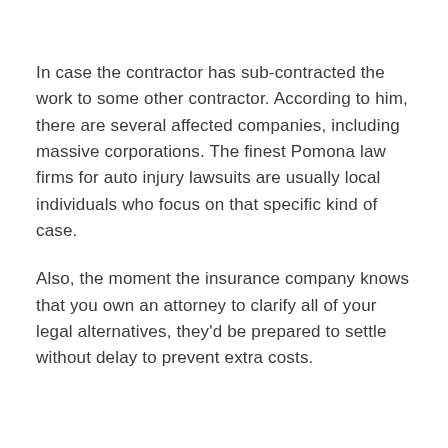In case the contractor has sub-contracted the work to some other contractor. According to him, there are several affected companies, including massive corporations. The finest Pomona law firms for auto injury lawsuits are usually local individuals who focus on that specific kind of case.
Also, the moment the insurance company knows that you own an attorney to clarify all of your legal alternatives, they'd be prepared to settle without delay to prevent extra costs.